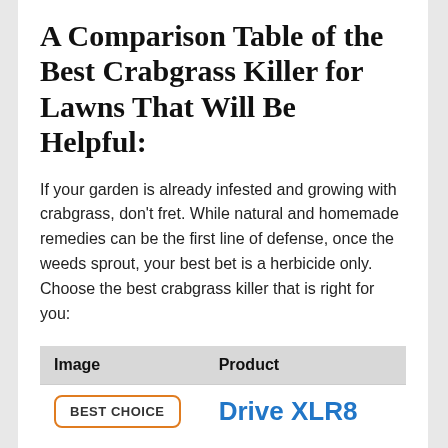A Comparison Table of the Best Crabgrass Killer for Lawns That Will Be Helpful:
If your garden is already infested and growing with crabgrass, don't fret. While natural and homemade remedies can be the first line of defense, once the weeds sprout, your best bet is a herbicide only. Choose the best crabgrass killer that is right for you:
| Image | Product |
| --- | --- |
| BEST CHOICE | Drive XLR8 |